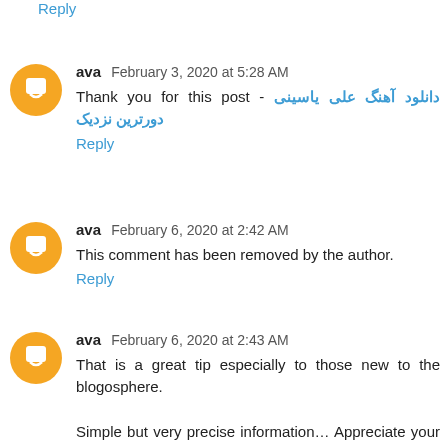Reply
ava  February 3, 2020 at 5:28 AM
Thank you for this post - دانلود آهنگ علی یاسینی دورترین نزدیک
Reply
ava  February 6, 2020 at 2:42 AM
This comment has been removed by the author.
Reply
ava  February 6, 2020 at 2:43 AM
That is a great tip especially to those new to the blogosphere.

Simple but very precise information… Appreciate your sharing this one.